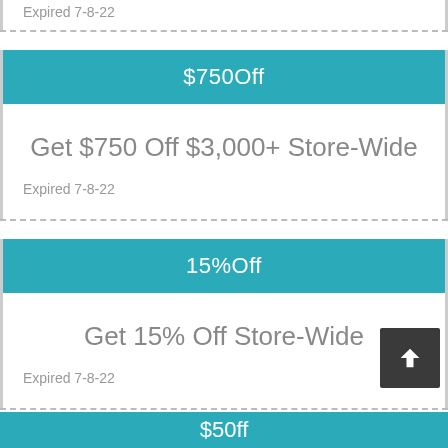Expired 7-8-22
$750Off
Get $750 Off $3,000+ Store-Wide
Expired 7-8-22
15%Off
Get 15% Off Store-Wide
Expired 7-8-22
$50ff